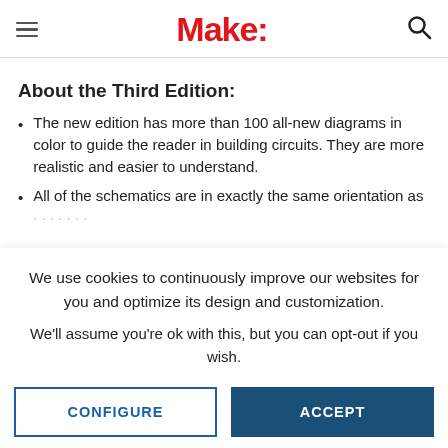Make:
About the Third Edition:
The new edition has more than 100 all-new diagrams in color to guide the reader in building circuits. They are more realistic and easier to understand.
All of the schematics are in exactly the same orientation as
We use cookies to continuously improve our websites for you and optimize its design and customization.
We'll assume you're ok with this, but you can opt-out if you wish.
CONFIGURE | ACCEPT